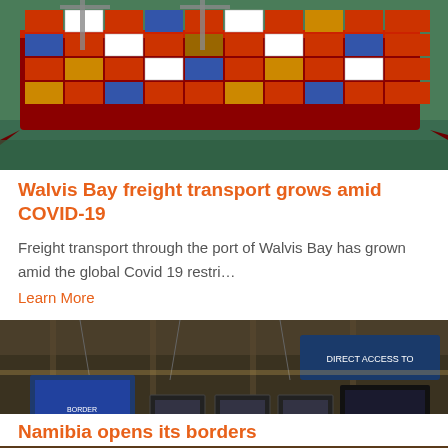[Figure (photo): Aerial view of a large container ship loaded with colorful shipping containers, docked at a port with cranes visible.]
Walvis Bay freight transport grows amid COVID-19
Freight transport through the port of Walvis Bay has grown amid the global Covid 19 restri…
Learn More
[Figure (photo): Interior of what appears to be a duty-free or retail shop at an airport/border crossing, with shelves of products and display screens visible.]
Namibia opens its borders